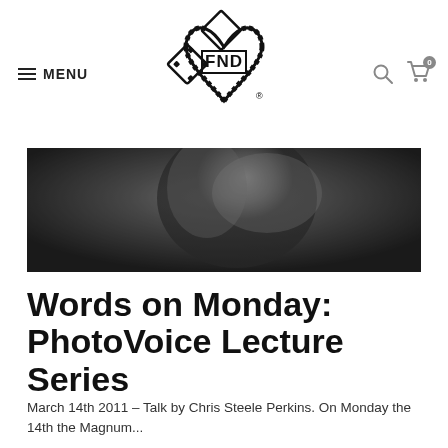FND logo, MENU, search and cart icons
[Figure (photo): Black and white close-up photo of a person or figure, blurred background, moody tones]
Words on Monday: PhotoVoice Lecture Series
March 14th 2011 – Talk by Chris Steele Perkins. On Monday the 14th the Magnum...